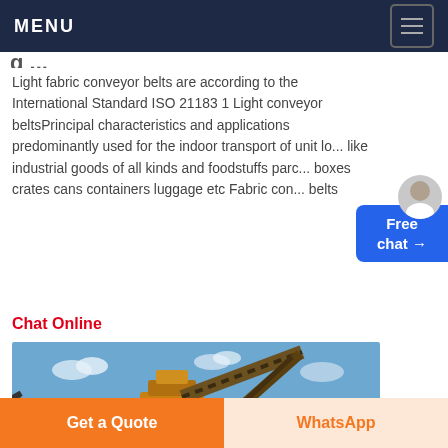MENU
Light fabric conveyor belts are according to the International Standard ISO 21183 1 Light conveyor beltsPrincipal characteristics and applications predominantly used for the indoor transport of unit lo... like industrial goods of all kinds and foodstuffs parc... boxes crates cans containers luggage etc Fabric con... belts
Chat Online
[Figure (photo): Industrial mining/crushing machinery with conveyor belts, yellow heavy equipment against a blue sky background]
Get a Quote
WhatsApp